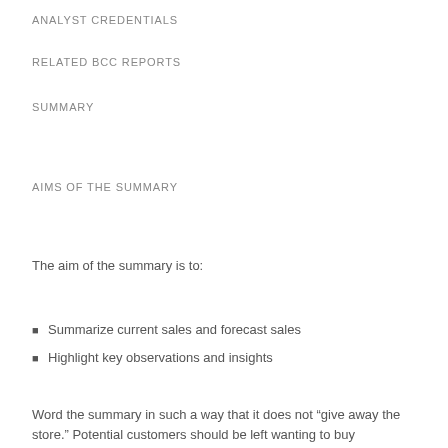ANALYST CREDENTIALS
RELATED BCC REPORTS
SUMMARY
AIMS OF THE SUMMARY
The aim of the summary is to:
Summarize current sales and forecast sales
Highlight key observations and insights
Word the summary in such a way that it does not “give away the store.” Potential customers should be left wanting to buy